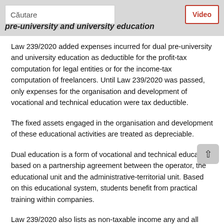Căutare | Video
pre-university and university education
Law 239/2020 added expenses incurred for dual pre-university and university education as deductible for the profit-tax computation for legal entities or for the income-tax computation of freelancers. Until Law 239/2020 was passed, only expenses for the organisation and development of vocational and technical education were tax deductible.
The fixed assets engaged in the organisation and development of these educational activities are treated as depreciable.
Dual education is a form of vocational and technical education based on a partnership agreement between the operator, the educational unit and the administrative-territorial unit. Based on this educational system, students benefit from practical training within companies.
Law 239/2020 also lists as non-taxable income any and all